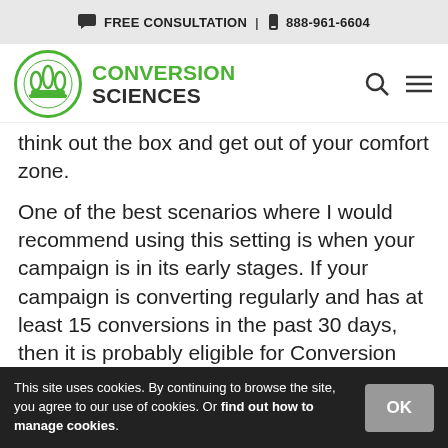FREE CONSULTATION | 888-961-6604
[Figure (logo): Conversion Sciences logo with green circle icon and text]
think out the box and get out of your comfort zone.
One of the best scenarios where I would recommend using this setting is when your campaign is in its early stages. If your campaign is converting regularly and has at least 15 conversions in the past 30 days, then it is probably eligible for Conversion Optimizer (which will
This site uses cookies. By continuing to browse the site, you agree to our use of cookies. Or find out how to manage cookies.